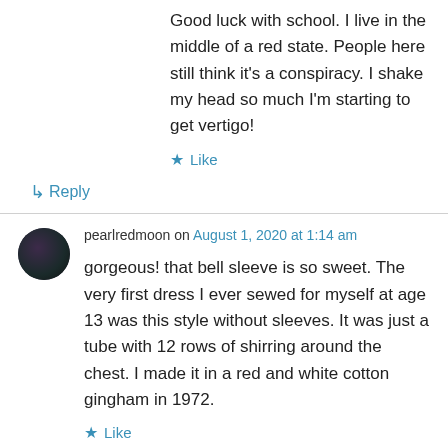Good luck with school. I live in the middle of a red state. People here still think it's a conspiracy. I shake my head so much I'm starting to get vertigo!
★ Like
↳ Reply
pearlredmoon on August 1, 2020 at 1:14 am
gorgeous! that bell sleeve is so sweet. The very first dress I ever sewed for myself at age 13 was this style without sleeves. It was just a tube with 12 rows of shirring around the chest. I made it in a red and white cotton gingham in 1972.
★ Like